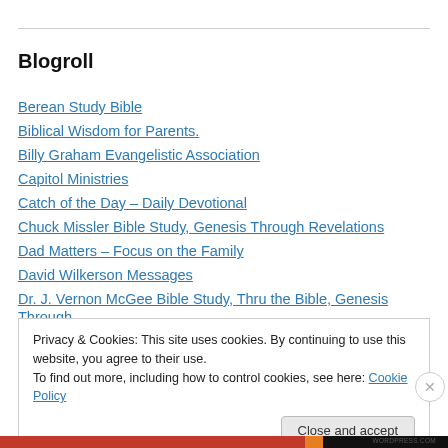Blogroll
Berean Study Bible
Biblical Wisdom for Parents.
Billy Graham Evangelistic Association
Capitol Ministries
Catch of the Day – Daily Devotional
Chuck Missler Bible Study, Genesis Through Revelations
Dad Matters – Focus on the Family
David Wilkerson Messages
Dr. J. Vernon McGee Bible Study, Thru the Bible, Genesis Through
Privacy & Cookies: This site uses cookies. By continuing to use this website, you agree to their use. To find out more, including how to control cookies, see here: Cookie Policy
Close and accept